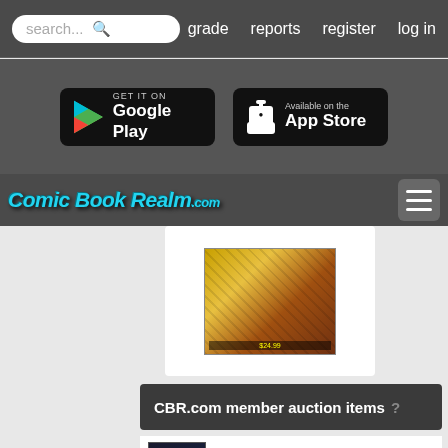search...  grade  reports  register  log in
[Figure (screenshot): Google Play and App Store download buttons on dark background]
[Figure (logo): Comic Book Realm .com logo with hamburger menu icon]
[Figure (photo): Partial comic book cover image]
CBR.com member auction items ?
Nova Volume 3: Secret Invasion By Abnett | $24.99 | Ends: 9/5 6:19 pm
Batman: Bruce Wayne Fugitive Vol 1-3, Ed ... | $51.99 | Ends: 9/5 12:00 am
Nightwing-dc Comics-trade Paperback-love